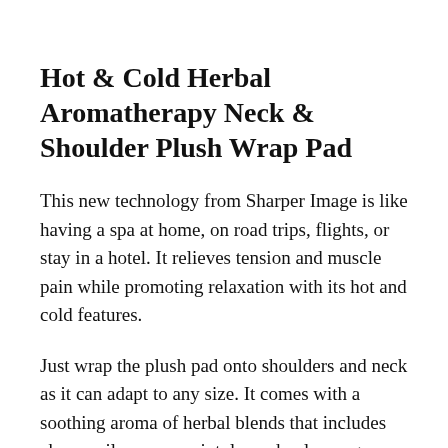Hot & Cold Herbal Aromatherapy Neck & Shoulder Plush Wrap Pad
This new technology from Sharper Image is like having a spa at home, on road trips, flights, or stay in a hotel. It relieves tension and muscle pain while promoting relaxation with its hot and cold features.
Just wrap the plush pad onto shoulders and neck as it can adapt to any size. It comes with a soothing aroma of herbal blends that includes chamomile, peppermint, lavender, lemongrass